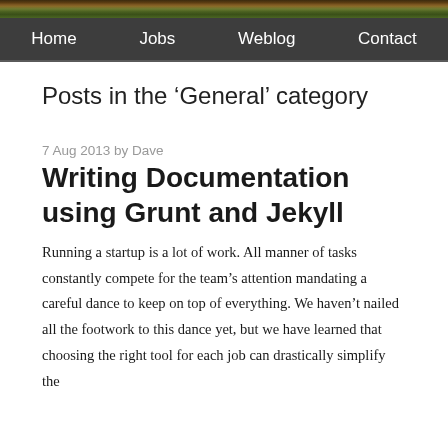[Figure (photo): Header image showing outdoor vegetation/foliage background]
Home   Jobs   Weblog   Contact
Posts in the ‘General’ category
7 Aug 2013 by Dave
Writing Documentation using Grunt and Jekyll
Running a startup is a lot of work. All manner of tasks constantly compete for the team’s attention mandating a careful dance to keep on top of everything. We haven’t nailed all the footwork to this dance yet, but we have learned that choosing the right tool for each job can drastically simplify the